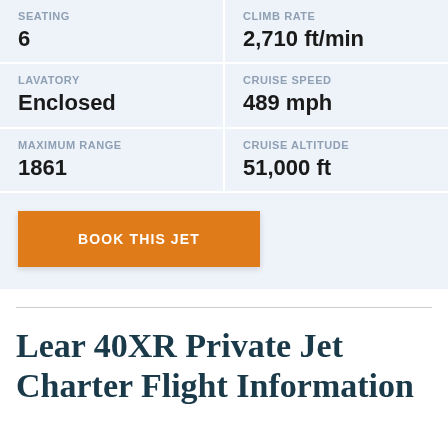| SEATING | CLIMB RATE | LAVATORY | CRUISE SPEED | MAXIMUM RANGE | CRUISE ALTITUDE |
| --- | --- | --- | --- | --- | --- |
| 6 | 2,710 ft/min |
| Enclosed | 489 mph |
| 1861 | 51,000 ft |
BOOK THIS JET
Lear 40XR Private Jet Charter Flight Information